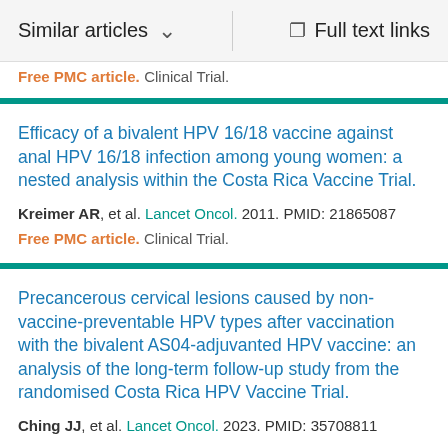Similar articles   Full text links
Free PMC article. Clinical Trial.
Efficacy of a bivalent HPV 16/18 vaccine against anal HPV 16/18 infection among young women: a nested analysis within the Costa Rica Vaccine Trial.
Kreimer AR, et al. Lancet Oncol. 2011. PMID: 21865087
Free PMC article. Clinical Trial.
Precancerous cervical lesions caused by non-vaccine-preventable HPV types after vaccination with the bivalent AS04-adjuvanted HPV vaccine: an analysis of the long-term follow-up study from the randomised Costa Rica HPV Vaccine Trial.
Ching JJ, et al. Lancet Oncol. 2023. PMID: 35708811